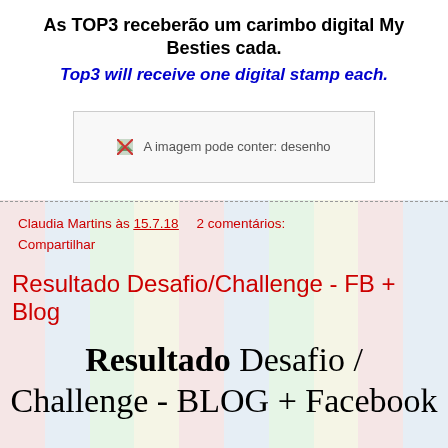As TOP3 receberão um carimbo digital My Besties cada.
Top3 will receive one digital stamp each.
[Figure (other): A imagem pode conter: desenho — broken/missing image placeholder]
Claudia Martins às 15.7.18    2 comentários:
Compartilhar
Resultado Desafio/Challenge - FB + Blog
Resultado  Desafio / Challenge - BLOG + Facebook